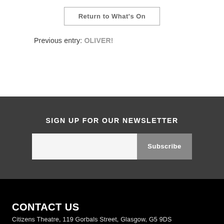Return to What's On
Previous entry: OLIVER!
SIGN UP FOR OUR NEWSLETTER
Subscribe
CONTACT US
Citizens Theatre, 119 Gorbals Street, Glasgow, G5 9DS